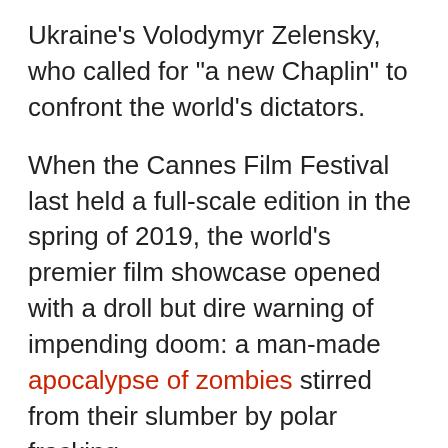Ukraine's Volodymyr Zelensky, who called for "a new Chaplin" to confront the world's dictators.
When the Cannes Film Festival last held a full-scale edition in the spring of 2019, the world's premier film showcase opened with a droll but dire warning of impending doom: a man-made apocalypse of zombies stirred from their slumber by polar fracking.
By the end of that year, the apocalypse had duly struck - not in the shape of Jim Jarmusch's amiable zombie hordes, but in the more sinister form of a deadly